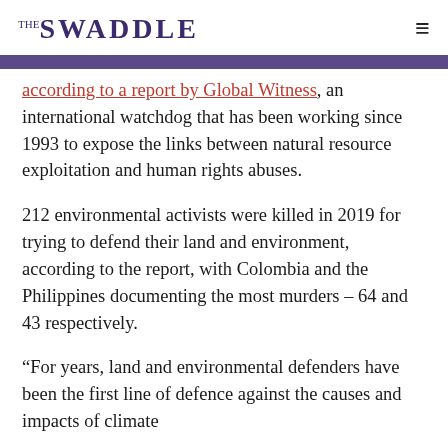THE SWADDLE
according to a report by Global Witness, an international watchdog that has been working since 1993 to expose the links between natural resource exploitation and human rights abuses.
212 environmental activists were killed in 2019 for trying to defend their land and environment, according to the report, with Colombia and the Philippines documenting the most murders – 64 and 43 respectively.
“For years, land and environmental defenders have been the first line of defence against the causes and impacts of climate